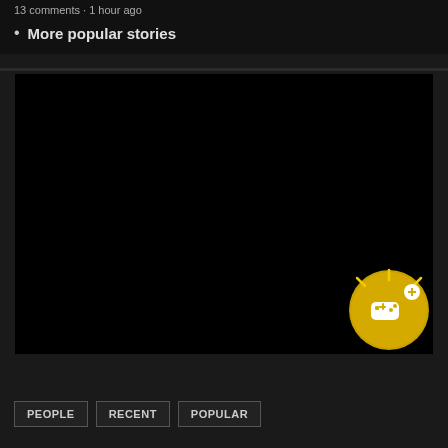13 comments · 1 hour ago
More popular stories
[Figure (screenshot): Large black rectangular area representing a dark/unloaded media content block with a gold circular badge in the bottom right corner containing a game controller icon with a plus sign]
PEOPLE   RECENT   POPULAR